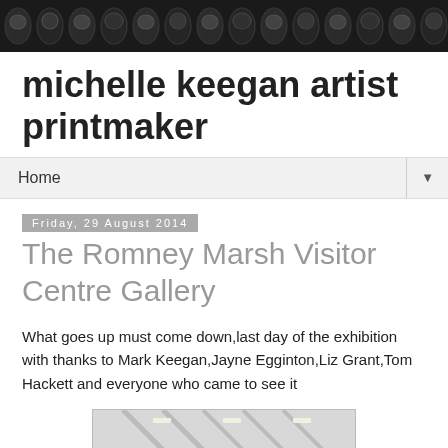[Figure (photo): Decorative header banner with black and white patterned/printed artwork]
michelle keegan artist printmaker
Home
Friday, 29 August 2014
The Romney Marsh Visitor Centre Gallery
What goes up must come down,last day of the exhibition with thanks to Mark Keegan,Jayne Egginton,Liz Grant,Tom Hackett and everyone who came to see it
[Figure (photo): Black and white interior photo of a gallery space with exposed ceiling beams and track lighting]